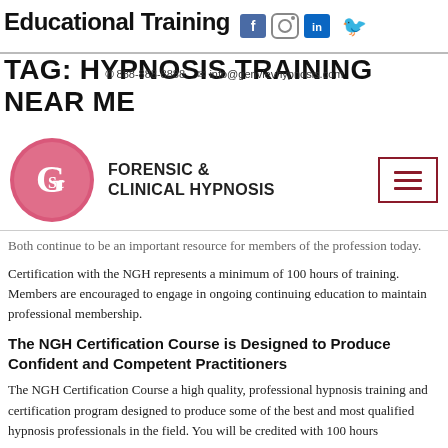Educational Training
TAG: HYPNOSIS TRAINING NEAR ME
info@genvievhypnosis.com
[Figure (logo): Forensic & Clinical Hypnosis logo — pink circle with stylized 'G' and 'Sc' letters]
FORENSIC & CLINICAL HYPNOSIS
Both continue to be an important resource for members of the profession today.
Certification with the NGH represents a minimum of 100 hours of training. Members are encouraged to engage in ongoing continuing education to maintain professional membership.
The NGH Certification Course is Designed to Produce Confident and Competent Practitioners
The NGH Certification Course a high quality, professional hypnosis training and certification program designed to produce some of the best and most qualified hypnosis professionals in the field. You will be credited with 100 hours